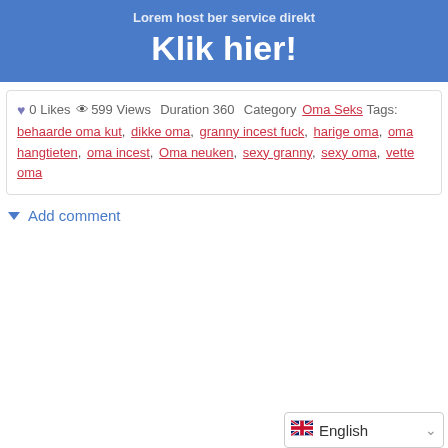Klik hier!
0 Likes  599 Views  Duration 360  Category Oma Seks  Tags: behaarde oma kut, dikke oma, granny incest fuck, harige oma, oma hangtieten, oma incest, Oma neuken, sexy granny, sexy oma, vette oma
▼ Add comment
English